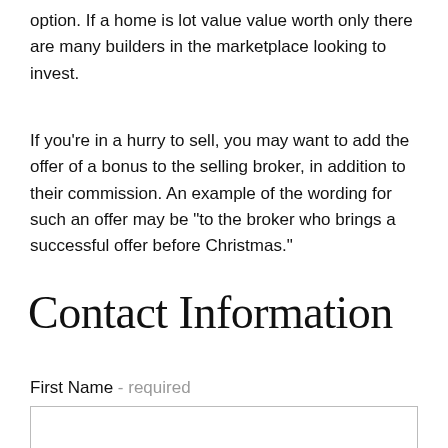option. If a home is lot value value worth only there are many builders in the marketplace looking to invest.
If you’re in a hurry to sell, you may want to add the offer of a bonus to the selling broker, in addition to their commission. An example of the wording for such an offer may be "to the broker who brings a successful offer before Christmas."
Contact Information
First Name – required
[Figure (other): Empty text input field for First Name]